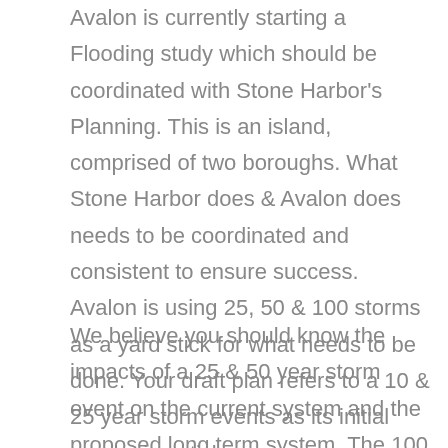Avalon is currently starting a Flooding study which should be coordinated with Stone Harbor's Planning. This is an island, comprised of two boroughs. What Stone Harbor does & Avalon does needs to be coordinated and consistent to ensure success. Avalon is using 25, 50 & 100 storms as a yard stick for what needs to be done. Your draft plan refers to a 10 & 25 year storm events as its initial measuring stick.
We believe you should know the impacts of a 25 & 50 year storm event on the current system and the proposed long term system. The 100 year storm will be cost prohibitive to plan for; however,